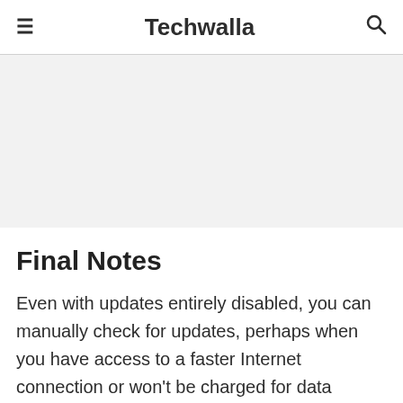≡  Techwalla  🔍
[Figure (other): Gray advertisement/banner placeholder area]
Final Notes
Even with updates entirely disabled, you can manually check for updates, perhaps when you have access to a faster Internet connection or won't be charged for data